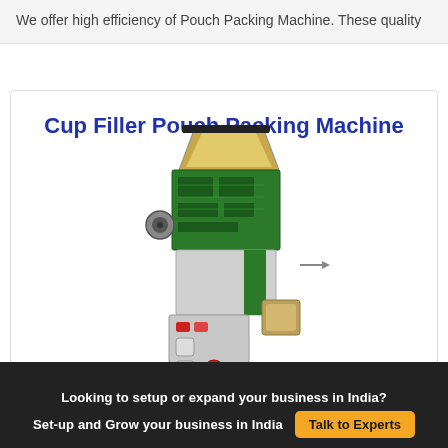We offer high efficiency of Pouch Packing Machine. These quality
Cup Filler Pouch Packing Machine
[Figure (photo): A Cup Filler Pouch Packing Machine — a tall industrial machine with a metallic hopper at the top, green circuit/mechanical components, control panel with buttons, and stainless steel body.]
Looking to setup or expand your business in India?
Set-up and Grow your business in India  Talk to Experts